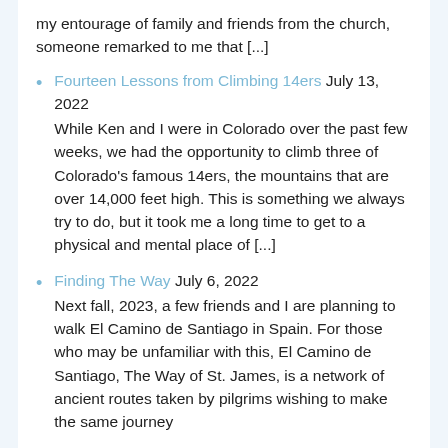my entourage of family and friends from the church, someone remarked to me that [...]
Fourteen Lessons from Climbing 14ers July 13, 2022
While Ken and I were in Colorado over the past few weeks, we had the opportunity to climb three of Colorado's famous 14ers, the mountains that are over 14,000 feet high. This is something we always try to do, but it took me a long time to get to a physical and mental place of [...]
Finding The Way July 6, 2022
Next fall, 2023, a few friends and I are planning to walk El Camino de Santiago in Spain. For those who may be unfamiliar with this, El Camino de Santiago, The Way of St. James, is a network of ancient routes taken by pilgrims wishing to make the same journey